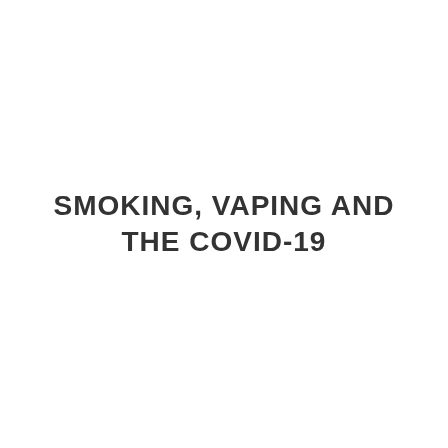SMOKING, VAPING AND THE COVID-19